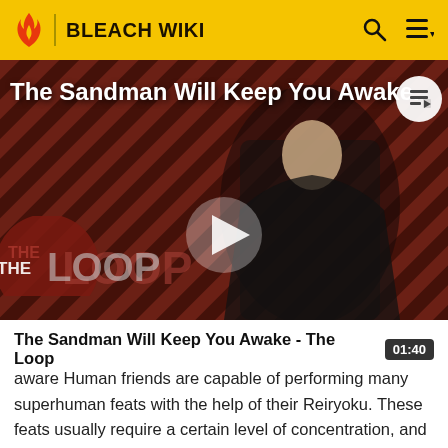BLEACH WIKI
[Figure (screenshot): Video thumbnail showing a dark-cloaked figure against a red and black diagonal stripe background. Text overlay reads 'The Sandman Will Keep You Awake.' with a play button in the center. 'THE LOOP' logo appears at bottom left.]
The Sandman Will Keep You Awake - The Loop  01:40
aware Human friends are capable of performing many superhuman feats with the help of their Reiryoku. These feats usually require a certain level of concentration, and